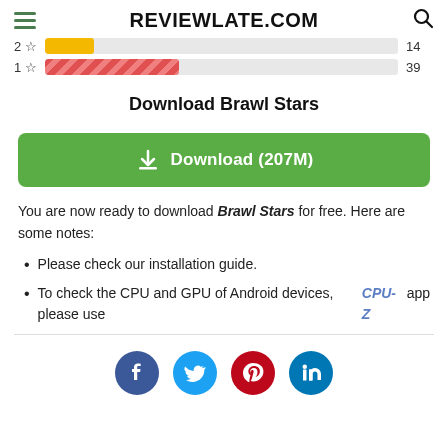REVIEWLATE.COM
[Figure (bar-chart): Partial rating bar chart showing 2-star (14 reviews) and 1-star (39 reviews) rows]
Download Brawl Stars
[Figure (other): Green download button: Download (207M)]
You are now ready to download Brawl Stars for free. Here are some notes:
Please check our installation guide.
To check the CPU and GPU of Android devices, please use CPU-Z app
[Figure (other): Social sharing icons: Facebook, Twitter, Pinterest, LinkedIn]